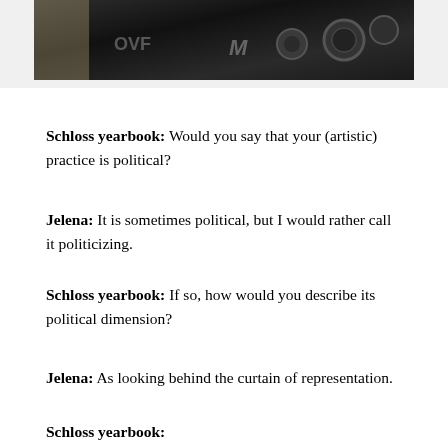[Figure (photo): Close-up photograph of a black camera or electronic device with buttons and dials, showing partial view from top]
Schloss yearbook: Would you say that your (artistic) practice is political?
Jelena: It is sometimes political, but I would rather call it politicizing.
Schloss yearbook: If so, how would you describe its political dimension?
Jelena: As looking behind the curtain of representation.
Schloss yearbook: